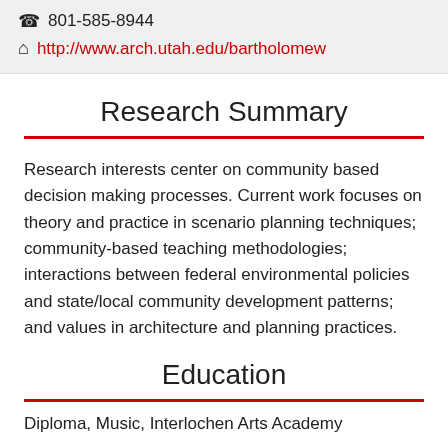801-585-8944
http://www.arch.utah.edu/bartholomew
Research Summary
Research interests center on community based decision making processes. Current work focuses on theory and practice in scenario planning techniques; community-based teaching methodologies; interactions between federal environmental policies and state/local community development patterns; and values in architecture and planning practices.
Education
Diploma, Music, Interlochen Arts Academy